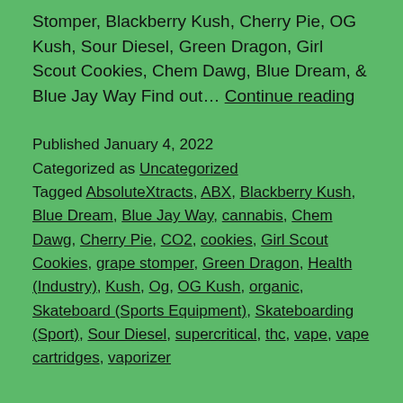Stomper, Blackberry Kush, Cherry Pie, OG Kush, Sour Diesel, Green Dragon, Girl Scout Cookies, Chem Dawg, Blue Dream, & Blue Jay Way Find out… Continue reading
Published January 4, 2022
Categorized as Uncategorized
Tagged AbsoluteXtracts, ABX, Blackberry Kush, Blue Dream, Blue Jay Way, cannabis, Chem Dawg, Cherry Pie, CO2, cookies, Girl Scout Cookies, grape stomper, Green Dragon, Health (Industry), Kush, Og, OG Kush, organic, Skateboard (Sports Equipment), Skateboarding (Sport), Sour Diesel, supercritical, thc, vape, vape cartridges, vaporizer